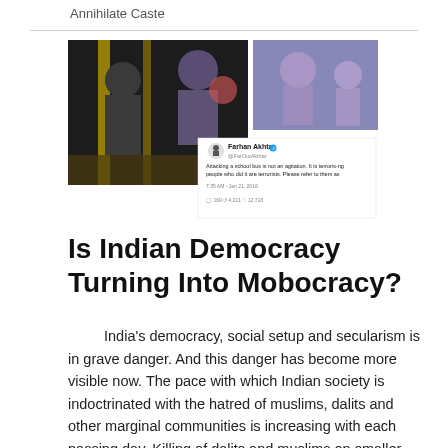Annihilate Caste
[Figure (screenshot): A composite image showing two video screenshots from a school bus incident alongside a tweet by Farhan Akhtar that reads: 'Attacking a school bus is not an agitation. It is terrorising people who did it are terrorists. Please refer to them as' with tweet metadata showing 7:35 AM - Jan 21, 2016 and engagement numbers.]
Is Indian Democracy Turning Into Mobocracy?
India's democracy, social setup and secularism is in grave danger.  And this danger has become more visible now. The pace with which Indian society is indoctrinated with the hatred of muslims, dalits and other marginal communities is  increasing with each passing day. Killing of dalits and muslims on smaller